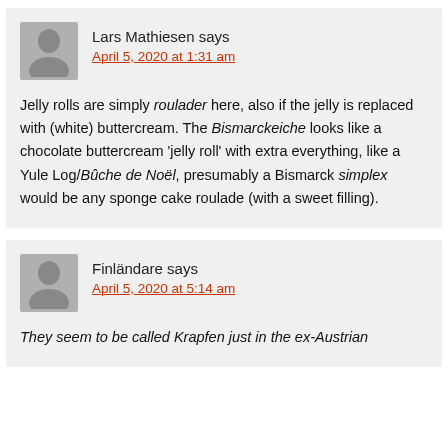Lars Mathiesen says
April 5, 2020 at 1:31 am

Jelly rolls are simply roulader here, also if the jelly is replaced with (white) buttercream. The Bismarckeiche looks like a chocolate buttercream 'jelly roll' with extra everything, like a Yule Log/Bûche de Noël, presumably a Bismarck simplex would be any sponge cake roulade (with a sweet filling).
Finländare says
April 5, 2020 at 5:14 am

They seem to be called Krapfen just in the ex-Austrian